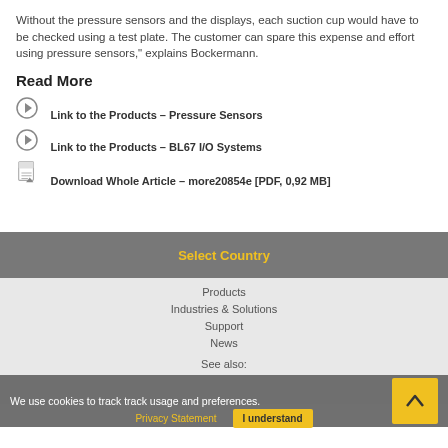Without the pressure sensors and the displays, each suction cup would have to be checked using a test plate. The customer can spare this expense and effort using pressure sensors," explains Bockermann.
Read More
Link to the Products – Pressure Sensors
Link to the Products – BL67 I/O Systems
Download Whole Article – more20854e [PDF, 0,92 MB]
Select Country
Products
Industries & Solutions
Support
News
See also:
We use cookies to track track usage and preferences.
Privacy Statement
I understand